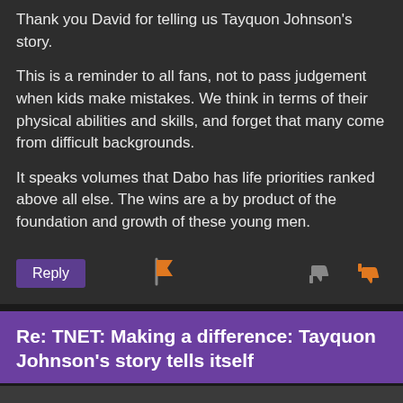Thank you David for telling us Tayquon Johnson's story.
This is a reminder to all fans, not to pass judgement when kids make mistakes. We think in terms of their physical abilities and skills, and forget that many come from difficult backgrounds.
It speaks volumes that Dabo has life priorities ranked above all else. The wins are a by product of the foundation and growth of these young men.
[Figure (infographic): Reply button (purple), flag icon (orange), thumbs down and thumbs up icons (grey/orange)]
Re: TNET: Making a difference: Tayquon Johnson's story tells itself
HopefulTiger® posted 3 years ago
110%er [9592 pts / 100%]
A wonderful story- David ... thanks for sharing!! .... This is a story that makes me appreciate not only Clemson and Dabo's on field success, but... more importantly